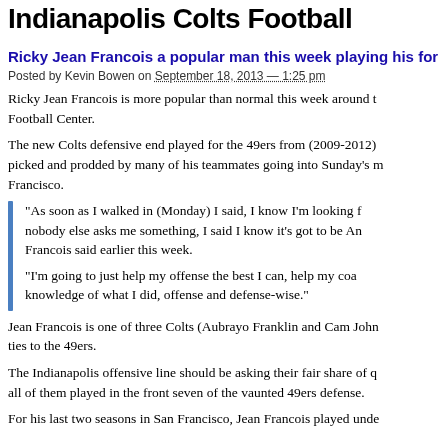Indianapolis Colts Football
Ricky Jean Francois a popular man this week playing his for…
Posted by Kevin Bowen on September 18, 2013 — 1:25 pm
Ricky Jean Francois is more popular than normal this week around the Football Center.
The new Colts defensive end played for the 49ers from (2009-2012) picked and prodded by many of his teammates going into Sunday's match against San Francisco.
“As soon as I walked in (Monday) I said, I know I’m looking f… nobody else asks me something, I said I know it’s got to be An… Francois said earlier this week.
“I’m going to just help my offense the best I can, help my coa… knowledge of what I did, offense and defense-wise.”
Jean Francois is one of three Colts (Aubrayo Franklin and Cam John… ties to the 49ers.
The Indianapolis offensive line should be asking their fair share of q… all of them played in the front seven of the vaunted 49ers defense.
For his last two seasons in San Francisco, Jean Francois played unde…